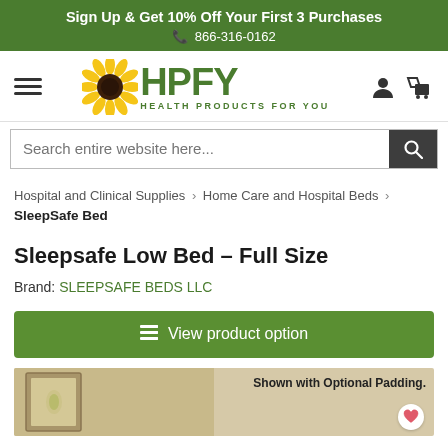Sign Up & Get 10% Off Your First 3 Purchases
📞 866-316-0162
[Figure (logo): HPFY Health Products For You logo with sunflower icon, hamburger menu, user and cart icons]
Search entire website here...
Hospital and Clinical Supplies > Home Care and Hospital Beds > SleepSafe Bed
Sleepsafe Low Bed – Full Size
Brand: SLEEPSAFE BEDS LLC
View product option
[Figure (photo): Product image shown with optional padding text overlay and heart/favorite button]